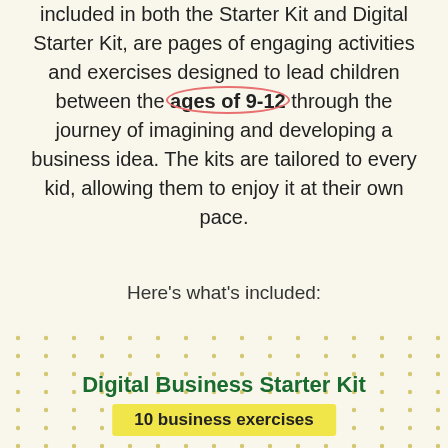included in both the Starter Kit and Digital Starter Kit, are pages of engaging activities and exercises designed to lead children between the ages of 9-12 through the journey of imagining and developing a business idea. The kits are tailored to every kid, allowing them to enjoy it at their own pace.
Here's what's included:
Digital Business Starter Kit
10 business exercises